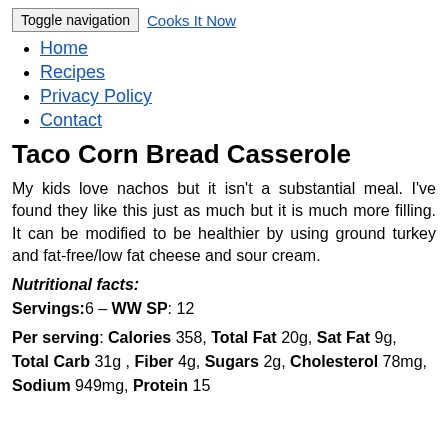Toggle navigation | Cooks It Now
Home
Recipes
Privacy Policy
Contact
Taco Corn Bread Casserole
My kids love nachos but it isn't a substantial meal. I've found they like this just as much but it is much more filling. It can be modified to be healthier by using ground turkey and fat-free/low fat cheese and sour cream.
Nutritional facts:
Servings:6 – WW SP: 12
Per serving: Calories 358, Total Fat 20g, Sat Fat 9g, Total Carb 31g , Fiber 4g, Sugars 2g, Cholesterol 78mg, Sodium 949mg, Protein 15